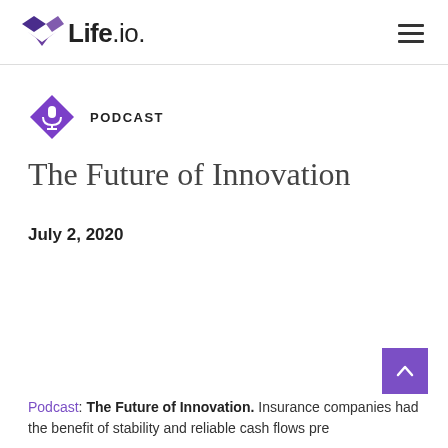Life.io — navigation header with hamburger menu
PODCAST
The Future of Innovation
July 2, 2020
Podcast: The Future of Innovation. Insurance companies had the benefit of stability and reliable cash flows pre